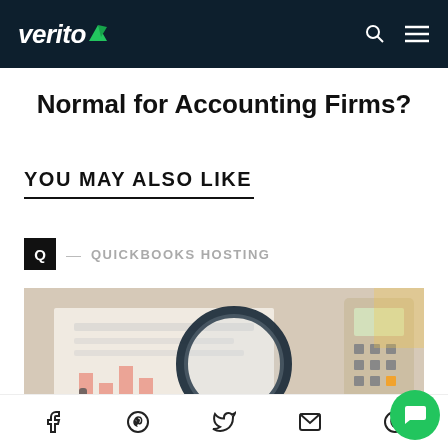verito — navigation bar with search and menu icons
Normal for Accounting Firms?
YOU MAY ALSO LIKE
Q — QUICKBOOKS HOSTING
[Figure (photo): Photo of a person's hand holding a pen over financial documents with a magnifying glass in the center and a calculator visible on the right side.]
Social share icons: Facebook, Pinterest, Twitter, Email, WhatsApp